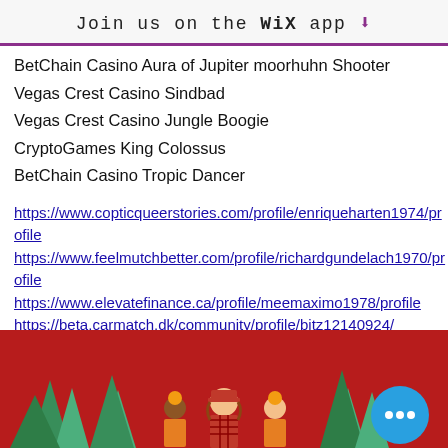Join us on the WiX app ⬇
BetChain Casino Aura of Jupiter moorhuhn Shooter
Vegas Crest Casino Sindbad
Vegas Crest Casino Jungle Boogie
CryptoGames King Colossus
BetChain Casino Tropic Dancer
https://www.copticqueerstories.com/profile/enriqueharten1974/profile
https://www.feelmutchbetter.com/profile/richardgundelach1970/profile
https://www.elevatefinance.ca/profile/meemaximo1978/profile
https://beta.carmatch.dk/community/profile/bitz12140924/
[Figure (illustration): Illustrated scene with lumberjack characters in red plaid shirts and orange helmets on a dark red background with teal tree silhouettes, with a blue circular button with three dots]